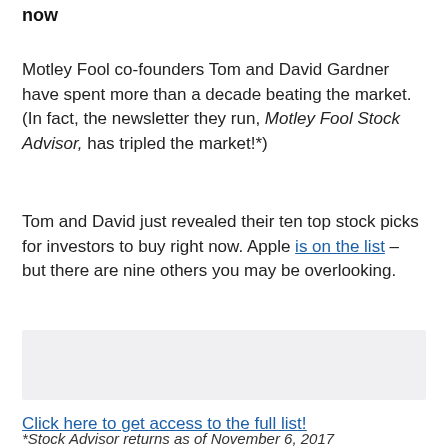now
Motley Fool co-founders Tom and David Gardner have spent more than a decade beating the market. (In fact, the newsletter they run, Motley Fool Stock Advisor, has tripled the market!*)
Tom and David just revealed their ten top stock picks for investors to buy right now. Apple is on the list – but there are nine others you may be overlooking.
[Figure (other): Gray placeholder box for an advertisement or image]
Click here to get access to the full list!
*Stock Advisor returns as of November 6, 2017